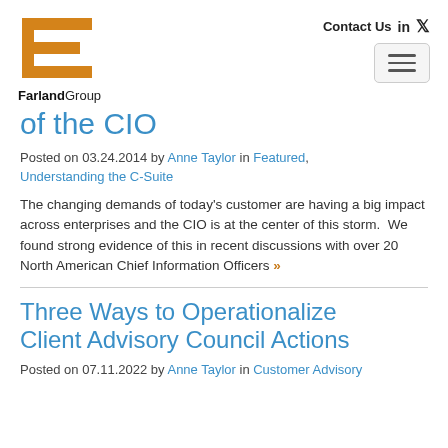[Figure (logo): Farland Group logo: orange angular bracket/F shape above the text FarlandGroup]
Contact Us  in  [twitter icon]  [hamburger menu button]
of the CIO
Posted on 03.24.2014 by Anne Taylor in Featured, Understanding the C-Suite
The changing demands of today's customer are having a big impact across enterprises and the CIO is at the center of this storm.  We found strong evidence of this in recent discussions with over 20 North American Chief Information Officers »
Three Ways to Operationalize Client Advisory Council Actions
Posted on 07.11.2022 by Anne Taylor in Customer Advisory